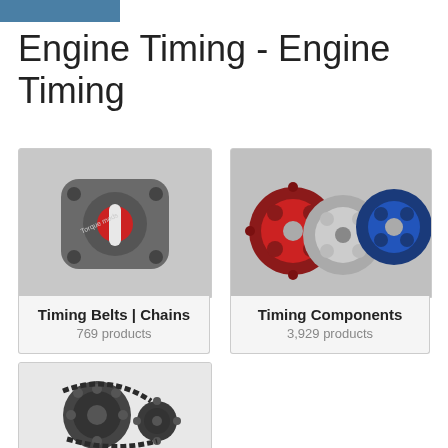Engine Timing - Engine Timing
[Figure (photo): Timing belt tensioner pulley component, metal with red center, Toyota Mods branded, on gray background]
Timing Belts | Chains
769 products
[Figure (photo): Three adjustable cam gears/timing gears in red, silver, and blue colors displayed on gray background]
Timing Components
3,929 products
[Figure (photo): Timing chain set with sprockets on white background, partially visible at bottom of page]